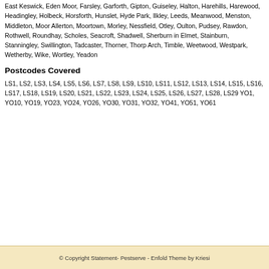East Keswick, Eden Moor, Farsley, Garforth, Gipton, Guiseley, Halton, Harehills, Harewood, Headingley, Holbeck, Horsforth, Hunslet, Hyde Park, Ilkley, Leeds, Meanwood, Menston, Middleton, Moor Allerton, Moortown, Morley, Nessfield, Otley, Oulton, Pudsey, Rawdon, Rothwell, Roundhay, Scholes, Seacroft, Shadwell, Sherburn in Elmet, Stainburn, Stanningley, Swillington, Tadcaster, Thorner, Thorp Arch, Timble, Weetwood, Westpark, Wetherby, Wike, Wortley, Yeadon
Postcodes Covered
LS1, LS2, LS3, LS4, LS5, LS6, LS7, LS8, LS9, LS10, LS11, LS12, LS13, LS14, LS15, LS16, LS17, LS18, LS19, LS20, LS21, LS22, LS23, LS24, LS25, LS26, LS27, LS28, LS29 YO1, YO10, YO19, YO23, YO24, YO26, YO30, YO31, YO32, YO41, YO51, YO61
© Copyright Statement- Pestserve - Enfold Theme by Kriesi